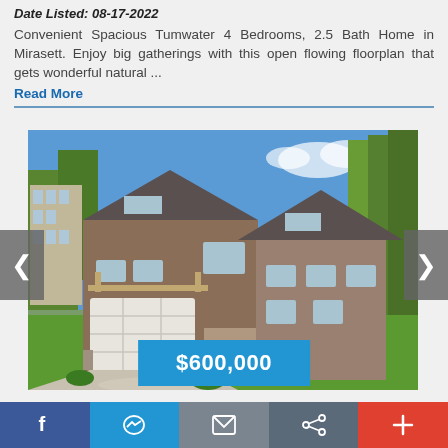Date Listed: 08-17-2022
Convenient Spacious Tumwater 4 Bedrooms, 2.5 Bath Home in Mirasett. Enjoy big gatherings with this open flowing floorplan that gets wonderful natural ...
Read More
[Figure (photo): Exterior photo of a two-story brown/gray craftsman-style home with attached garage, driveway, landscaping and trees. Price tag overlay shows $600,000. Navigation arrows on left and right sides.]
f  [messenger icon]  [mail icon]  [share icon]  +